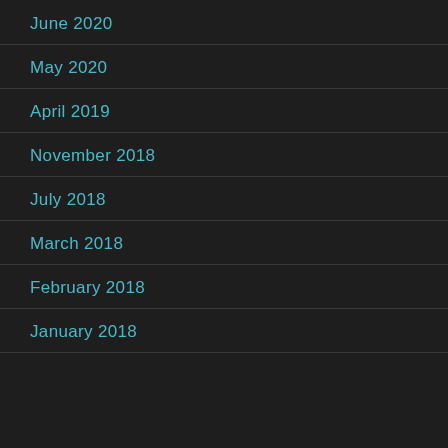June 2020
May 2020
April 2019
November 2018
July 2018
March 2018
February 2018
January 2018